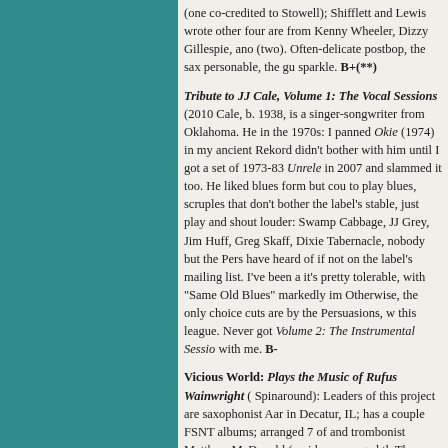(one co-credited to Stowell); Shifflett and Lewis wrote other four are from Kenny Wheeler, Dizzy Gillespie, ano (two). Often-delicate postbop, the sax personable, the gu sparkle. B+(**)
Tribute to JJ Cale, Volume 1: The Vocal Sessions (2010 Cale, b. 1938, is a singer-songwriter from Oklahoma. He in the 1970s: I panned Okie (1974) in my ancient Rekord didn't bother with him until I got a set of 1973-83 Unrele in 2007 and slammed it too. He liked blues form but cou to play blues, scruples that don't bother the label's stable, just play and shout louder: Swamp Cabbage, JJ Grey, Jim Huff, Greg Skaff, Dixie Tabernacle, nobody but the Pers have heard of if not on the label's mailing list. I've been a it's pretty tolerable, with "Same Old Blues" markedly im Otherwise, the only choice cuts are by the Persuasions, w this league. Never got Volume 2: The Instrumental Sessio with me. B-
Vicious World: Plays the Music of Rufus Wainwright ( Spinaround): Leaders of this project are saxophonist Aar in Decatur, IL; has a couple FSNT albums; arranged 7 of and trombonist Matthew McDonald (no idea; arranged th The group also includes guitar (Sebastian Noelle), bass ( Kneeland), drums (Danny Fischer), violin (Eliza Cho), a Jeffers). I know a great deal about Wainwright's parents